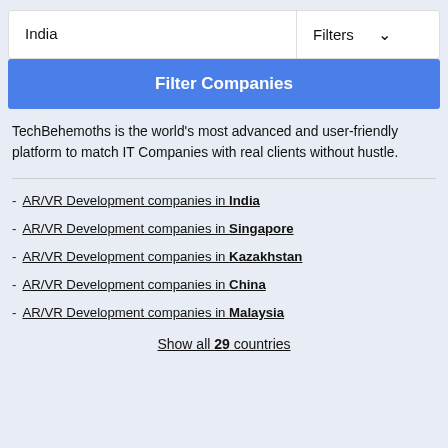India
Filters
Filter Companies
TechBehemoths is the world's most advanced and user-friendly platform to match IT Companies with real clients without hustle.
AR/VR Development companies in India
AR/VR Development companies in Singapore
AR/VR Development companies in Kazakhstan
AR/VR Development companies in China
AR/VR Development companies in Malaysia
Show all 29 countries